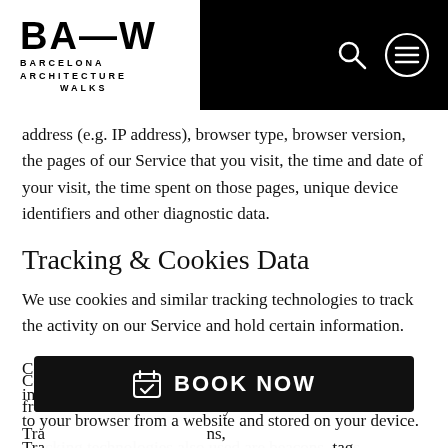[Figure (logo): BA—W Barcelona Architecture Walks logo in black and white header bar with search and menu icons]
address (e.g. IP address), browser type, browser version, the pages of our Service that you visit, the time and date of your visit, the time spent on those pages, unique device identifiers and other diagnostic data.
Tracking & Cookies Data
We use cookies and similar tracking technologies to track the activity on our Service and hold certain information.
Cookies are files with small amount of data which may include an anonymous unique identifier. Cookies are sent to your browser from a website and stored on your device. Tracking technologies also used are beacons, tags, to collect information and to improve and analyze our
[Figure (other): BOOK NOW button bar in black at the bottom of the screen with a calendar icon]